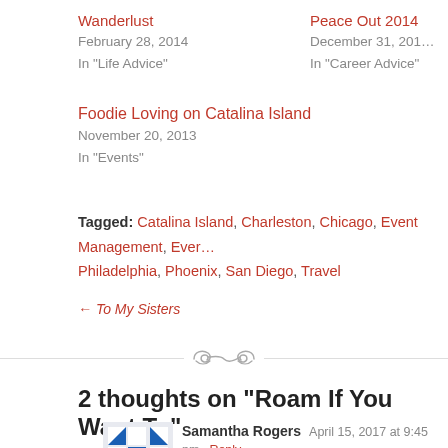Wanderlust
February 28, 2014
In "Life Advice"
Peace Out 2014
December 31, 201...
In "Career Advice"
Foodie Loving on Catalina Island
November 20, 2013
In "Events"
Tagged: Catalina Island, Charleston, Chicago, Event Management, Ever..., Philadelphia, Phoenix, San Diego, Travel
← To My Sisters
[Figure (illustration): Decorative scrollwork ornament divider]
2 thoughts on “Roam If You Want To”
Samantha Rogers April 15, 2017 at 9:45 pm Reply
What an inspirational article! So true! Love it!!!